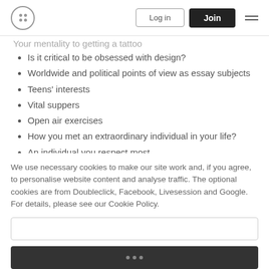Log in | Join
Your mentality to getting a tattoo
Is it critical to be obsessed with design?
Worldwide and political points of view as essay subjects
Teens' interests
Vital suppers
Open air exercises
How you met an extraordinary individual in your life?
An individual you respect most.
My Self-Proclaimed Identity
My Foreign Exchange Experience
How might we further develop wellbeing guidelines?
Ways of forestalling air and water contamination
We use necessary cookies to make our site work and, if you agree, to personalise website content and analyse traffic. The optional cookies are from Doubleclick, Facebook, Livesession and Google. For details, please see our Cookie Policy.